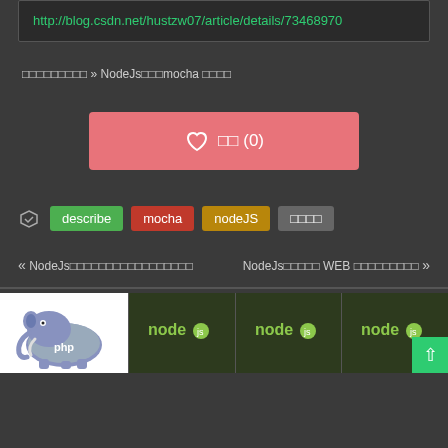http://blog.csdn.net/hustzw07/article/details/73468970
□□□□□□□□□ » NodeJs□□□mocha □□□□
[Figure (other): Pink heart/like button with heart icon and text '□□ (0)']
describe
mocha
nodeJS
□□□□
« NodeJs□□□□□□□□□□□□□□□□□
NodeJs□□□□□ WEB □□□□□□□□□ »
[Figure (illustration): PHP elephant logo and multiple Node.js logos in a bottom strip]